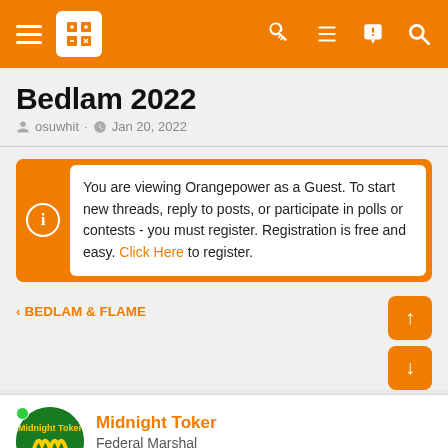Orangepower forum navigation bar
Bedlam 2022
osuwhit · Jan 20, 2022
You are viewing Orangepower as a Guest. To start new threads, reply to posts, or participate in polls or contests - you must register. Registration is free and easy. Click Here to register.
< BEDLAM & FLAME
Midnight Toker
Federal Marshal
Jan 23, 2022   #21